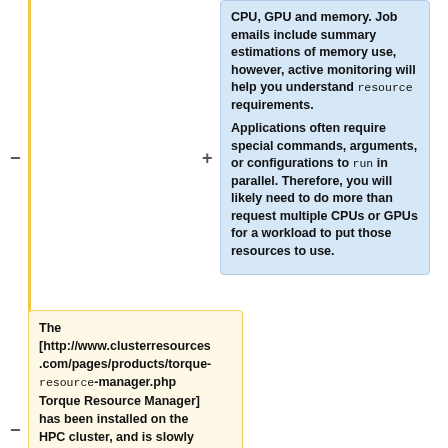CPU, GPU and memory. Job emails include summary estimations of memory use, however, active monitoring will help you understand resource requirements.
Applications often require special commands, arguments, or configurations to run in parallel. Therefore, you will likely need to do more than request multiple CPUs or GPUs for a workload to put those resources to use.
The [http://www.clusterresources.com/pages/products/torque-resource-manager.php Torque Resource Manager] has been installed on the HPC cluster, and is slowly